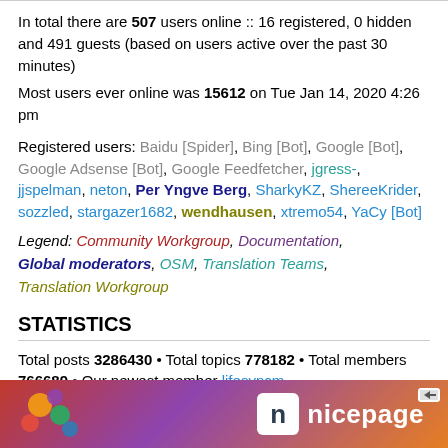In total there are 507 users online :: 16 registered, 0 hidden and 491 guests (based on users active over the past 30 minutes)
Most users ever online was 15612 on Tue Jan 14, 2020 4:26 pm
Registered users: Baidu [Spider], Bing [Bot], Google [Bot], Google Adsense [Bot], Google Feedfetcher, jgress-, jjspelman, neton, Per Yngve Berg, SharkyKZ, ShereeKrider, sozzled, stargazer1682, wendhausen, xtremo54, YaCy [Bot]
Legend: Community Workgroup, Documentation, Global moderators, OSM, Translation Teams, Translation Workgroup
STATISTICS
Total posts 3286430 • Total topics 778182 • Total members 766689 • Our newest member lifesyncm
[Figure (other): Advertisement banner with Joomla logo on left and nicepage logo/text on right, colorful gradient background]